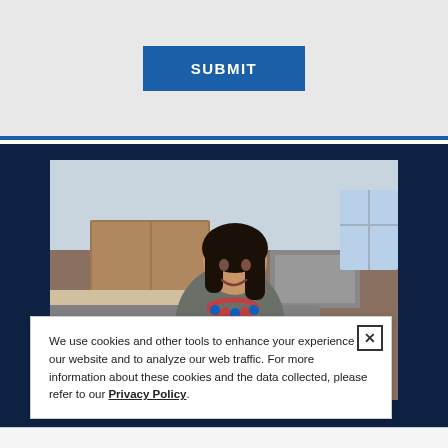[Figure (other): Gray form area with a blue SUBMIT button centered in a light gray panel]
[Figure (photo): Woman smiling and using a tablet while sitting on a couch at home, set against a dark navy background]
We use cookies and other tools to enhance your experience on our website and to analyze our web traffic. For more information about these cookies and the data collected, please refer to our Privacy Policy.